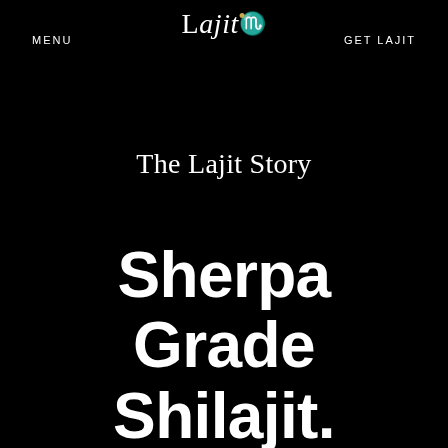MENU   Lajit   GET LAJIT
The Lajit Story
Sherpa Grade Shilajit.